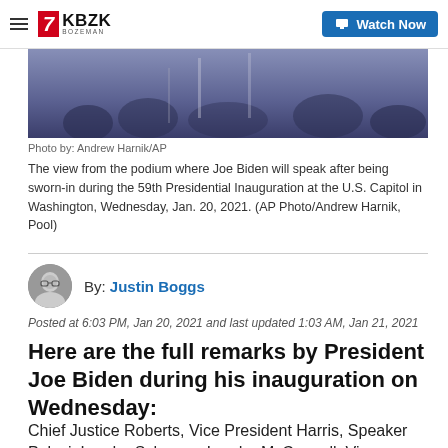7 KBZK BOZEMAN | Watch Now
[Figure (photo): View from a podium at the U.S. Capitol, showing rows of people in the background with a blue/purple hued scene]
Photo by: Andrew Harnik/AP
The view from the podium where Joe Biden will speak after being sworn-in during the 59th Presidential Inauguration at the U.S. Capitol in Washington, Wednesday, Jan. 20, 2021. (AP Photo/Andrew Harnik, Pool)
By: Justin Boggs
Posted at 6:03 PM, Jan 20, 2021 and last updated 1:03 AM, Jan 21, 2021
Here are the full remarks by President Joe Biden during his inauguration on Wednesday:
Chief Justice Roberts, Vice President Harris, Speaker Pelosi, Leader Schumer, Leader McConnell, Vice